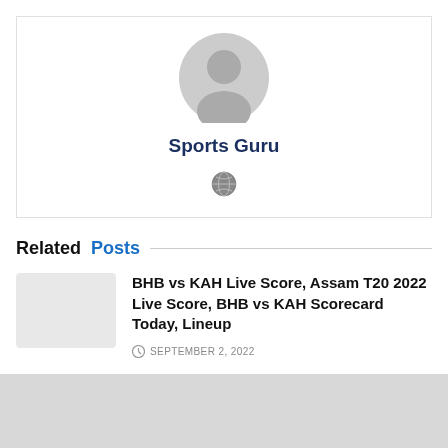[Figure (illustration): Gray circular default avatar/profile icon showing a silhouette of a person]
Sports Guru
[Figure (illustration): Small globe/world icon]
Related Posts
[Figure (photo): Thumbnail image placeholder (light gray box)]
BHB vs KAH Live Score, Assam T20 2022 Live Score, BHB vs KAH Scorecard Today, Lineup
SEPTEMBER 2, 2022